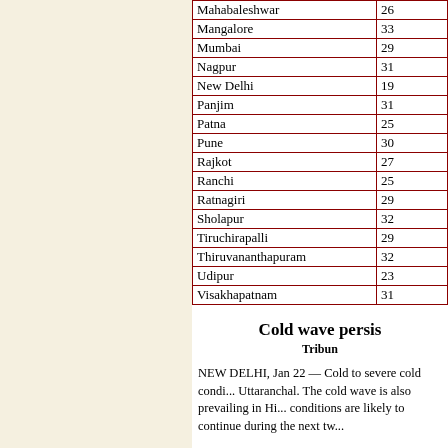| City | Temperature |
| --- | --- |
| Mahabaleshwar | 26 |
| Mangalore | 33 |
| Mumbai | 29 |
| Nagpur | 31 |
| New Delhi | 19 |
| Panjim | 31 |
| Patna | 25 |
| Pune | 30 |
| Rajkot | 27 |
| Ranchi | 25 |
| Ratnagiri | 29 |
| Sholapur | 32 |
| Tiruchirapalli | 29 |
| Thiruvananthapuram | 32 |
| Udipur | 23 |
| Visakhapatnam | 31 |
Cold wave persis
Tribun
NEW DELHI, Jan 22 — Cold to severe cold conditions prevailed in Uttaranchal. The cold wave is also prevailing in Hi... conditions are likely to continue during the next tw...